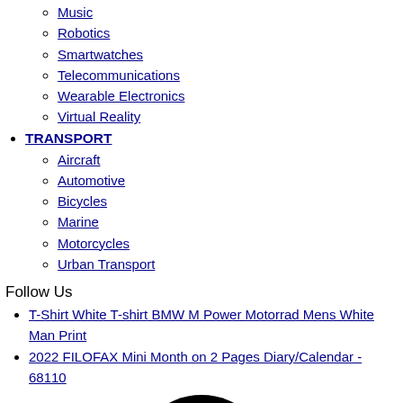Music
Robotics
Smartwatches
Telecommunications
Wearable Electronics
Virtual Reality
TRANSPORT
Aircraft
Automotive
Bicycles
Marine
Motorcycles
Urban Transport
Follow Us
T-Shirt White T-shirt BMW M Power Motorrad Mens White Man Print
2022 FILOFAX Mini Month on 2 Pages Diary/Calendar - 68110
[Figure (logo): Pinterest logo icon — black circular pin/location marker shape on white background]